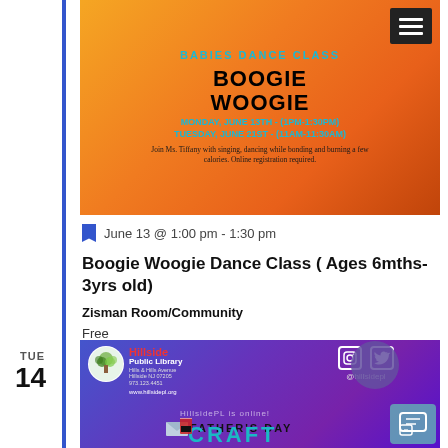[Figure (photo): Boogie Woogie Babies Dance Class promotional banner with orange background. Text: MONDAY, JUNE 13TH - (1PM-1:30PM), TUESDAY, JUNE 21ST - (11AM-11:30AM), Join Ms. Tiffany with singing, dancing while bonding and burning a few calories. Online registration required.]
June 13 @ 1:00 pm - 1:30 pm
Boogie Woogie Dance Class ( Ages 6mths-3yrs old)
Zisman Room/Community
Free
[Figure (photo): Hillside Public Library promotional banner for Father's Day Craft event. Purple/blue gradient background with Hillside Public Library logo, social media icons (@hillsidepl), HillsidePL is online text, FATHER'S DAY CRAFT text visible.]